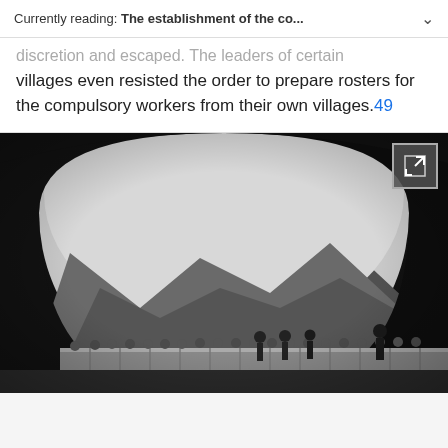Currently reading: The establishment of the co...
discretion and escaped. The leaders of certain villages even resisted the order to prepare rosters for the compulsory workers from their own villages.49
[Figure (photo): Black and white photograph taken from inside a railway tunnel looking outward. Through the arched tunnel opening, a mountainous landscape is visible with hills in the background under a hazy sky. In the foreground along the railway tracks, a low concrete wall or barrier runs horizontally with rounded objects (possibly stones or workers' heads) along its top. Several silhouetted figures of workers or people stand near the tracks. Railroad tracks are visible at the bottom of the frame.]